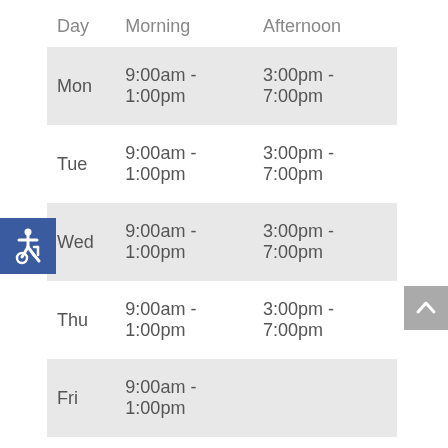| Day | Morning | Afternoon |
| --- | --- | --- |
| Mon | 9:00am - 1:00pm | 3:00pm - 7:00pm |
| Tue | 9:00am - 1:00pm | 3:00pm - 7:00pm |
| Wed | 9:00am - 1:00pm | 3:00pm - 7:00pm |
| Thu | 9:00am - 1:00pm | 3:00pm - 7:00pm |
| Fri | 9:00am - 1:00pm |  |
[Figure (illustration): Wheelchair accessibility icon (ISA symbol) in white on blue background square]
[Figure (illustration): Scroll to top arrow button, upward chevron in white on grey background square]